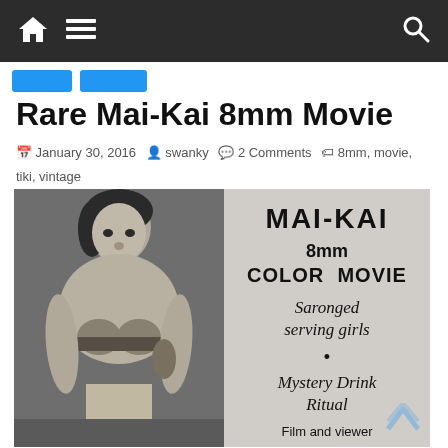Navigation bar with home, menu, and search icons
Rare Mai-Kai 8mm Movie
January 30, 2016 | swanky | 2 Comments | 8mm, movie, tiki, vintage
[Figure (photo): Vintage black and white advertisement for Mai-Kai 8mm Color Movie showing a woman on the left side and text on the right reading: MAI-KAI 8mm COLOR MOVIE Saronged serving girls • Mystery Drink Ritual Film and viewer...]